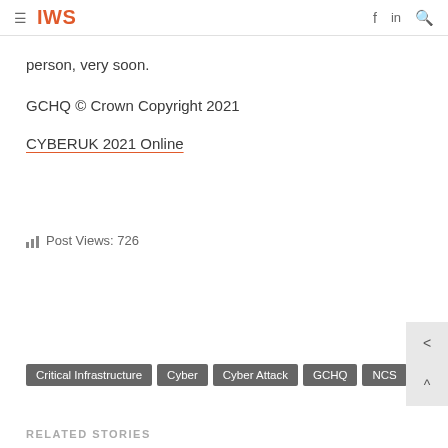IWS
person, very soon.
GCHQ © Crown Copyright 2021
CYBERUK 2021 Online
Post Views: 726
Critical Infrastructure
Cyber
Cyber Attack
GCHQ
NCS
RELATED STORIES